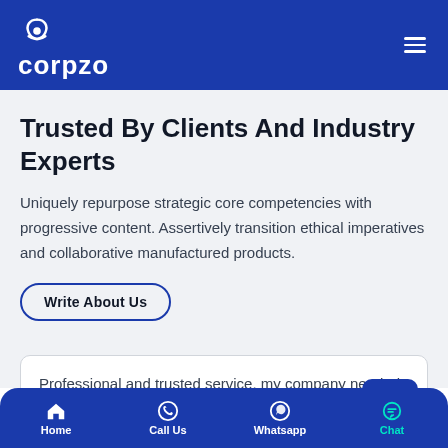corpzo
Trusted By Clients And Industry Experts
Uniquely repurpose strategic core competencies with progressive content. Assertively transition ethical imperatives and collaborative manufactured products.
Write About Us
Professional and trusted service, my company needed certification from the state excise in the
Home   Call Us   Whatsapp   Chat